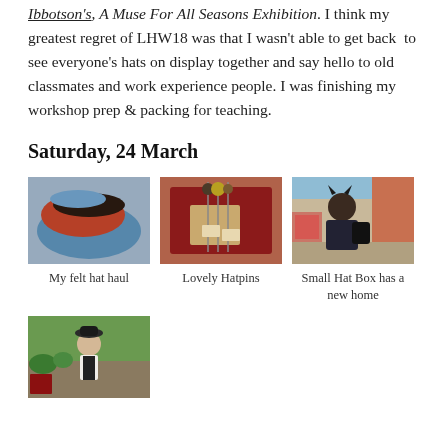Ibbotson's, A Muse For All Seasons Exhibition. I think my greatest regret of LHW18 was that I wasn't able to get back to see everyone's hats on display together and say hello to old classmates and work experience people. I was finishing my workshop prep & packing for teaching.
Saturday, 24 March
[Figure (photo): Three photos in a row: (1) stacked felt hats in blue, orange/red and black, (2) a hand holding hatpins with decorative heads displayed in a red velvet box, (3) a person wearing cat ears and a black backpack at an indoor event.]
My felt hat haul
Lovely Hatpins
Small Hat Box has a new home
[Figure (photo): A person wearing a black bowler hat and white shirt, standing outdoors near greenery and a sign.]